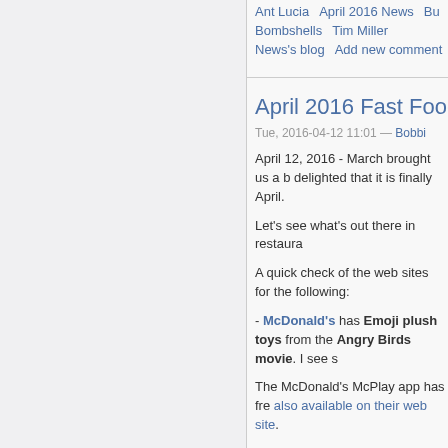Ant Lucia  April 2016 News  Bu  Bombshells  Tim Miller  News's blog  Add new comment
April 2016 Fast Food T
Tue, 2016-04-12 11:01 — Bobbi
April 12, 2016 - March brought us a b delighted that it is finally April.
Let's see what's out there in restaura
A quick check of the web sites for the following:
- McDonald's has Emoji plush toys from the Angry Birds movie. I see s
The McDonald's McPlay app has fre also available on their web site.
- Sonic has Teen Titans Go! toys th